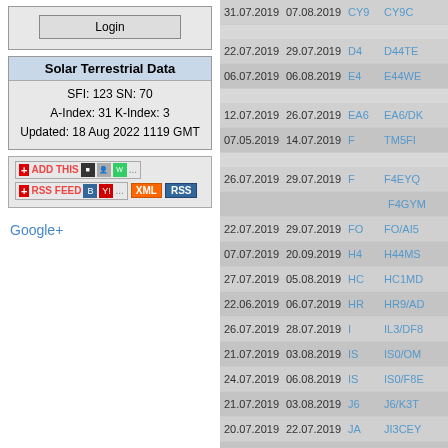Login (button)
Solar Terrestrial Data
SFI: 123 SN: 70
A-Index: 31 K-Index: 3
Updated: 18 Aug 2022 1119 GMT
[Figure (other): Social sharing buttons: ADD THIS, RSS FEED, XML, RSS icons]
Google+
| Date From | Date To | Pfx | Callsign |
| --- | --- | --- | --- |
| 31.07.2019 | 07.08.2019 | CY9 | CY9C |
| 22.07.2019 | 29.07.2019 | D4 | D44TE... |
| 06.07.2019 | 06.08.2019 | E4 | E44WE... |
| 12.07.2019 | 26.07.2019 | EA6 | EA6/DK... |
| 07.05.2019 | 14.07.2019 | F | TM5FI... |
| 26.07.2019 | 29.07.2019 | F | F4EYQ... F4GYM... |
| 22.07.2019 | 29.07.2019 | FO | FO/AI5... |
| 07.07.2019 | 20.09.2019 | H4 | H44MS... |
| 27.07.2019 | 05.08.2019 | HC | HC1MD... |
| 22.06.2019 | 06.07.2019 | HR | HR9/AD... |
| 26.07.2019 | 28.07.2019 | I | IL3/DF8... |
| 21.07.2019 | 03.08.2019 | IS | IS0/OM... |
| 24.07.2019 | 06.08.2019 | IS | IS0/F8E... |
| 21.07.2019 | 03.08.2019 | J6 | J6/K3T... |
| 20.07.2019 | 22.07.2019 | JA | JI3CEY... |
| 19.07.2019 | 21.07.2019 | JA | JG7PS... |
| 15.07.2019 | 16.07.2019 | JA | JH2RM... JI2NRI... |
| 15.07.2019 | 18.07.2019 | KL | K6VVA... |
| 01.06.2019 | 12.07.2019 | LA | LA ... |